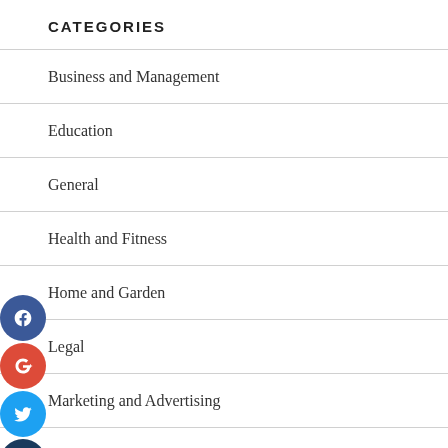CATEGORIES
Business and Management
Education
General
Health and Fitness
Home and Garden
Legal
Marketing and Advertising
Pets